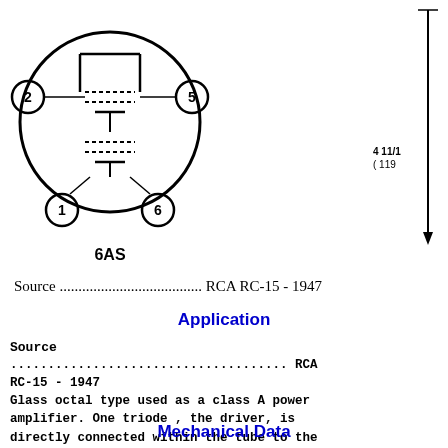[Figure (schematic): 6AS vacuum tube pin diagram showing a circle with pins labeled 1, 2, 5, 6 and internal triode schematic. Label '6AS' below the circle.]
[Figure (engineering-diagram): Partial mechanical dimension diagram on right side showing a vertical line with arrow and dimension text '4 11/16 (119']
Source ..................................... RCA RC-15 - 1947
Application
Source
..................................... RCA RC-15 - 1947
Glass octal type used as a class A power amplifier. One triode , the driver, is directly connected within the tube to the second, or output, triode. Tube requires 6-contact socket.
Mechanical Data